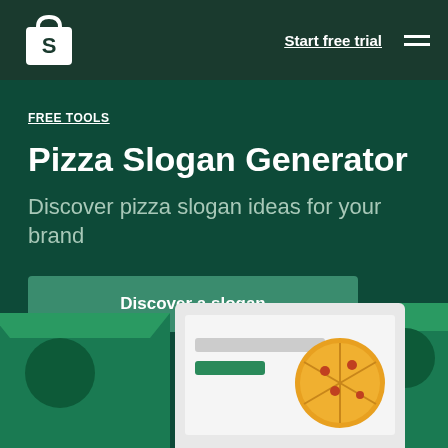[Figure (logo): Shopify logo - white shopping bag with S on dark green nav bar]
Start free trial
FREE TOOLS
Pizza Slogan Generator
Discover pizza slogan ideas for your brand
Discover a slogan
[Figure (illustration): Illustration showing a laptop/computer screen with pizza imagery, green storefront elements, and UI mockup elements at the bottom of the page]